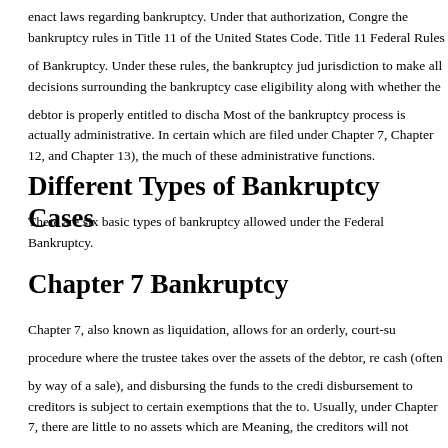enact laws regarding bankruptcy. Under that authorization, Congress enacted the bankruptcy rules in Title 11 of the United States Code. Title 11 also created the Federal Rules of Bankruptcy. Under these rules, the bankruptcy judge has the jurisdiction to make all decisions surrounding the bankruptcy case including eligibility along with whether the debtor is properly entitled to discharge debts. Most of the bankruptcy process is actually administrative. In certain cases (those which are filed under Chapter 7, Chapter 12, and Chapter 13), the trustee handles much of these administrative functions.
Different Types of Bankruptcy Cases
There are six basic types of bankruptcy allowed under the Federal Rules of Bankruptcy.
Chapter 7 Bankruptcy
Chapter 7, also known as liquidation, allows for an orderly, court-supervised procedure where the trustee takes over the assets of the debtor, reduces them to cash (often by way of a sale), and disbursing the funds to the creditors. The disbursement to creditors is subject to certain exemptions that the debtor is entitled to. Usually, under Chapter 7, there are little to no assets which are non-exempt. Meaning, the creditors will not receive anything if the debtor's petition is filed as Chapter 7. These types of cases are called "no-asset cases". Th